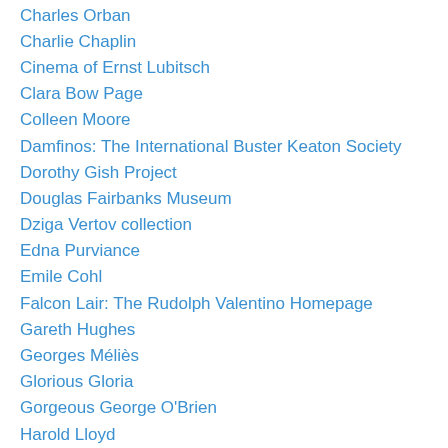Charles Orban
Charlie Chaplin
Cinema of Ernst Lubitsch
Clara Bow Page
Colleen Moore
Damfinos: The International Buster Keaton Society
Dorothy Gish Project
Douglas Fairbanks Museum
Dziga Vertov collection
Edna Purviance
Emile Cohl
Falcon Lair: The Rudolph Valentino Homepage
Gareth Hughes
Georges Méliès
Glorious Gloria
Gorgeous George O'Brien
Harold Lloyd
Harry Langdon Society
Henry B. Walthall
Laurel & Hardy